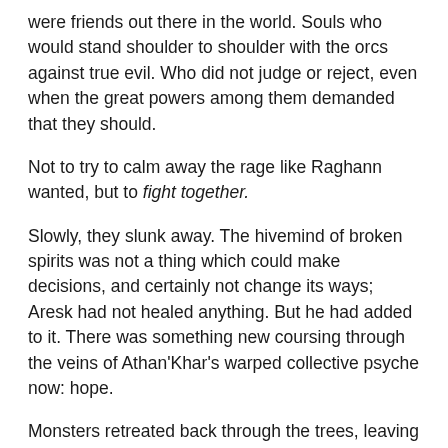were friends out there in the world. Souls who would stand shoulder to shoulder with the orcs against true evil. Who did not judge or reject, even when the great powers among them demanded that they should.
Not to try to calm away the rage like Raghann wanted, but to fight together.
Slowly, they slunk away. The hivemind of broken spirits was not a thing which could make decisions, and certainly not change its ways; Aresk had not healed anything. But he had added to it. There was something new coursing through the veins of Athan'Khar's warped collective psyche now: hope.
Monsters retreated back through the trees, leaving him untouched upon the ground before the shrine. Gradually, the awareness of their thought, their inner voices, ebbed away as well.